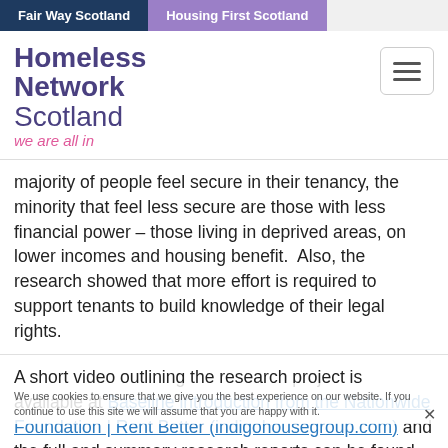Fair Way Scotland | Housing First Scotland
[Figure (logo): Homeless Network Scotland logo with tagline 'we are all in']
majority of people feel secure in their tenancy, the minority that feel less secure are those with less financial power – those living in deprived areas, on lower incomes and housing benefit.  Also, the research showed that more effort is required to support tenants to build knowledge of their legal rights.
A short video outlining the research project is available at Baseline introduction from the Nationwide Foundation | Rent Better (indigohousegroup.com) and the full and summary research reports can be found at Findings | Rent Better (indigohousegroup.com)
We use cookies to ensure that we give you the best experience on our website. If you continue to use this site we will assume that you are happy with it.
Accept | Reject | Privacy policy